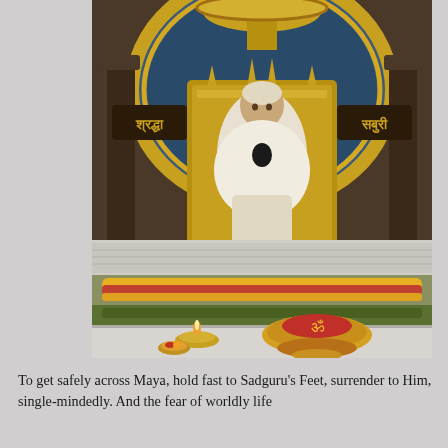[Figure (photo): Photograph of Sai Baba shrine/idol at Shirdi temple. The golden idol of Sai Baba is seated in an ornate golden throne with arch. Hindi text 'Shraddha' on the left and 'Saburi' on the right. Floral garlands adorn the base. In the foreground there is a lit diya (oil lamp) and a plate with red floral offerings shaped as Om symbol on a decorative stand.]
To get safely across Maya, hold fast to Sadguru's Feet, surrender to Him, single-mindedly. And the fear of worldly life